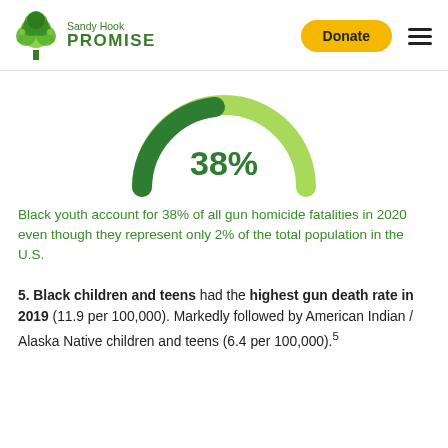[Figure (logo): Sandy Hook Promise logo with green tree icon and text 'Sandy Hook PROMISE']
[Figure (donut-chart): Semicircular gauge chart showing 38% in green, representing Black youth gun homicide fatality share]
Black youth account for 38% of all gun homicide fatalities in 2020 even though they represent only 2% of the total population in the U.S.
5. Black children and teens had the highest gun death rate in 2019 (11.9 per 100,000). Markedly followed by American Indian / Alaska Native children and teens (6.4 per 100,000).5